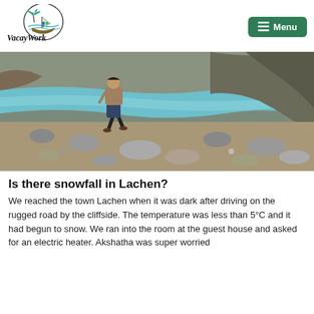[Figure (logo): VacayWork logo with palm tree and boat illustration and handwritten-style text]
[Figure (photo): Person walking on rocky riverbank with turquoise river and rocky cliffs in background]
Is there snowfall in Lachen?
We reached the town Lachen when it was dark after driving on the rugged road by the cliffside. The temperature was less than 5°C and it had begun to snow. We ran into the room at the guest house and asked for an electric heater. Akshatha was super worried